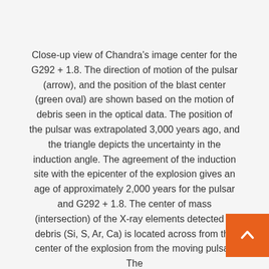Close-up view of Chandra's image center for the G292 + 1.8. The direction of motion of the pulsar (arrow), and the position of the blast center (green oval) are shown based on the motion of debris seen in the optical data. The position of the pulsar was extrapolated 3,000 years ago, and the triangle depicts the uncertainty in the induction angle. The agreement of the induction site with the epicenter of the explosion gives an age of approximately 2,000 years for the pulsar and G292 + 1.8. The center of mass (intersection) of the X-ray elements detected in debris (Si, S, Ar, Ca) is located across from the center of the explosion from the moving pulsar. The